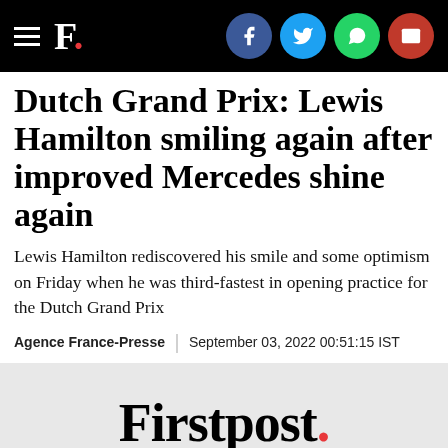F. [Firstpost logo header with social icons: Facebook, Twitter, WhatsApp, Email]
Dutch Grand Prix: Lewis Hamilton smiling again after improved Mercedes shine again
Lewis Hamilton rediscovered his smile and some optimism on Friday when he was third-fastest in opening practice for the Dutch Grand Prix
Agence France-Presse | September 03, 2022 00:51:15 IST
[Figure (logo): Firstpost logo — black serif text with red period]